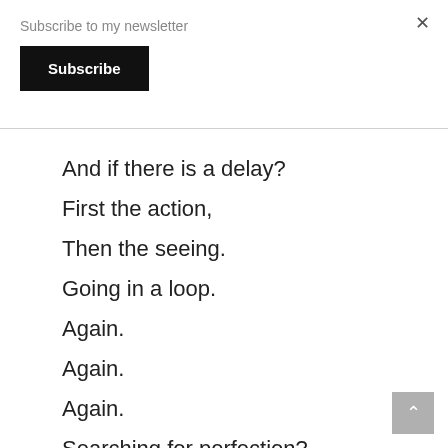Subscribe to my newsletter
Subscribe
×
And if there is a delay?
First the action,
Then the seeing.
Going in a loop.
Again.
Again.
Again.
Searching for perfection?